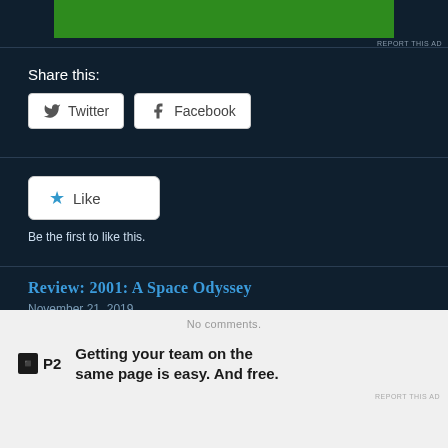[Figure (other): Green ad banner at top]
REPORT THIS AD
Share this:
Twitter
Facebook
Like
Be the first to like this.
Review: 2001: A Space Odyssey
November 21, 2019
In “featured”
No comments.
Getting your team on the same page is easy. And free.
REPORT THIS AD